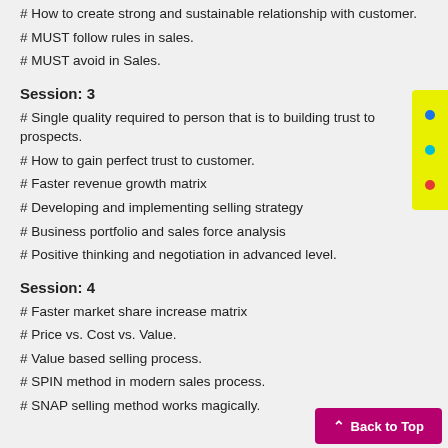# How to create strong and sustainable relationship with customer.
# MUST follow rules in sales.
# MUST avoid in Sales.
Session: 3
# Single quality required to person that is to building trust to prospects.
# How to gain perfect trust to customer.
# Faster revenue growth matrix
# Developing and implementing selling strategy
# Business portfolio and sales force analysis
# Positive thinking and negotiation in advanced level.
Session: 4
# Faster market share increase matrix
# Price vs. Cost vs. Value.
# Value based selling process.
# SPIN method in modern sales process.
# SNAP selling method works magically.